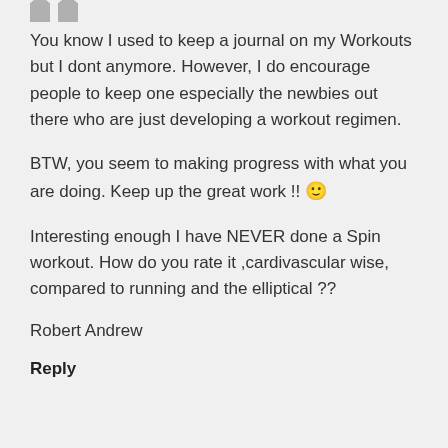You know I used to keep a journal on my Workouts but I dont anymore. However, I do encourage people to keep one especially the newbies out there who are just developing a workout regimen.
BTW, you seem to making progress with what you are doing. Keep up the great work !! 🙂
Interesting enough I have NEVER done a Spin workout. How do you rate it ,cardivascular wise, compared to running and the elliptical ??
Robert Andrew
Reply